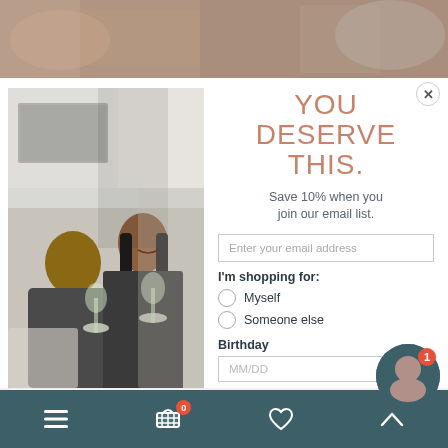[Figure (screenshot): Blurred background photo strip at top showing a home interior scene]
[Figure (photo): Lifestyle photo of a couple sitting on a couch laughing and holding wine glasses, in a bright living room]
YOU DESERVE THIS.
Save 10% when you join our email list.
Enter your email address
I'm shopping for:
Myself
Someone else
Birthday
MM/DD
SAVE
Navigation bar with menu, cart (0), heart, and up arrow icons